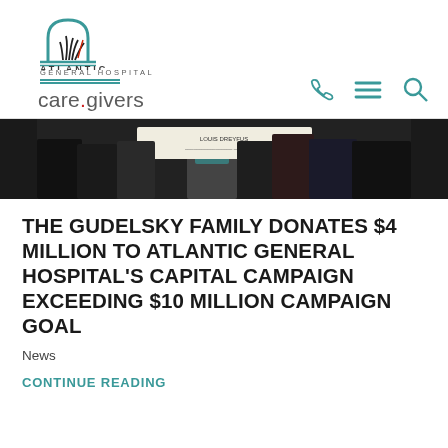[Figure (logo): Atlantic General Hospital logo with stylized plant/grass design and teal arch, with 'care.givers' tagline below]
[Figure (photo): Group of people in dark clothing holding a large check/banner at a fundraising event]
THE GUDELSKY FAMILY DONATES $4 MILLION TO ATLANTIC GENERAL HOSPITAL'S CAPITAL CAMPAIGN EXCEEDING $10 MILLION CAMPAIGN GOAL
News
CONTINUE READING